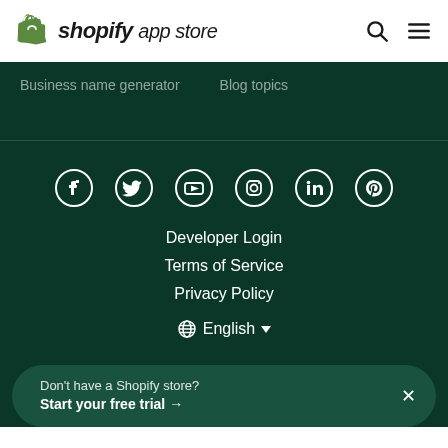Shopify App Store
Business name generator
Blog topics
[Figure (other): Social media icons row: Facebook, Twitter, YouTube, Instagram, LinkedIn, Pinterest]
Developer Login
Terms of Service
Privacy Policy
English
Don't have a Shopify store? Start your free trial →